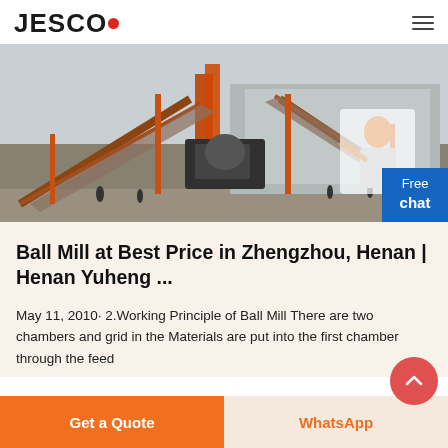JESCO
[Figure (photo): Industrial ball mill machinery installation site with orange cranes and conveyor structures, workers visible, grey sky background. A customer service representative appears overlaid at bottom right. Blue 'Free chat' button overlay.]
Ball Mill at Best Price in Zhengzhou, Henan | Henan Yuheng ...
May 11, 2010· 2.Working Principle of Ball Mill There are two chambers and grid in the Materials are put into the first chamber through the feed
Get a Quote | WhatsApp